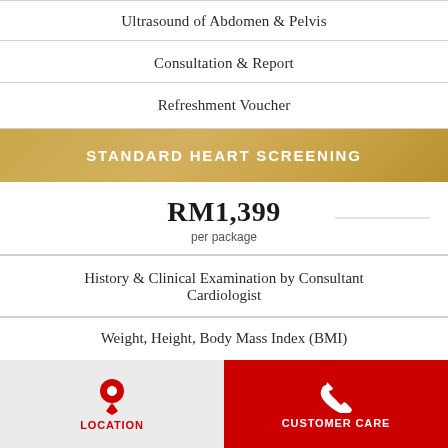Ultrasound of Abdomen & Pelvis
Consultation & Report
Refreshment Voucher
STANDARD HEART SCREENING
RM1,399
per package
History & Clinical Examination by Consultant Cardiologist
Weight, Height, Body Mass Index (BMI)
LOCATION | CUSTOMER CARE